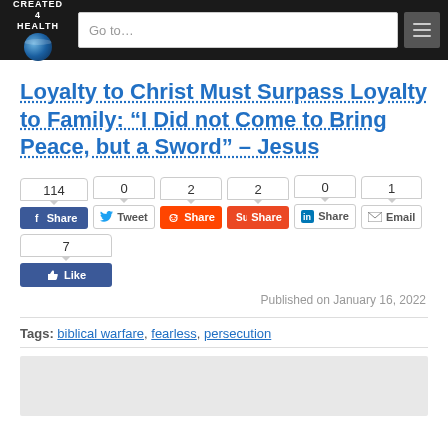CREATED 4 HEALTH | Go to...
Loyalty to Christ Must Surpass Loyalty to Family: “I Did not Come to Bring Peace, but a Sword” – Jesus
[Figure (screenshot): Social sharing buttons: Facebook Share (114), Tweet (0), Reddit Share (2), StumbleUpon Share (2), LinkedIn Share (0), Email (1), Like (7)]
Published on January 16, 2022
Tags: biblical warfare, fearless, persecution